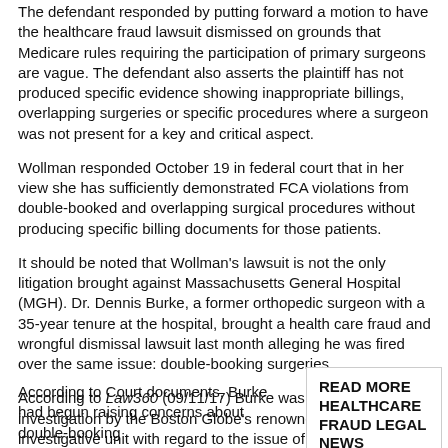The defendant responded by putting forward a motion to have the healthcare fraud lawsuit dismissed on grounds that Medicare rules requiring the participation of primary surgeons are vague. The defendant also asserts the plaintiff has not produced specific evidence showing inappropriate billings, overlapping surgeries or specific procedures where a surgeon was not present for a key and critical aspect.
Wollman responded October 19 in federal court that in her view she has sufficiently demonstrated FCA violations from double-booked and overlapping surgical procedures without producing specific billing documents for those patients.
It should be noted that Wollman’s lawsuit is not the only litigation brought against Massachusetts General Hospital (MGH). Dr. Dennis Burke, a former orthopedic surgeon with a 35-year tenure at the hospital, brought a health care fraud and wrongful dismissal lawsuit last month alleging he was fired over the same issue: double-booking surgeries.
According to Law360 (09/11/17) Burke was a participant in an investigation by the Boston Globe’s renowned Spotlight investigative unit with regard to the issue of double-booking surgical procedures at MGH.
According to Court documents, Burke had begun raising concerns about double-booking
READ MORE HEALTHCARE FRAUD LEGAL NEWS
[Figure (infographic): Red button with orange gradient and FREE badge: REQUEST LEGAL HELP NOW!]
Whistleblowers